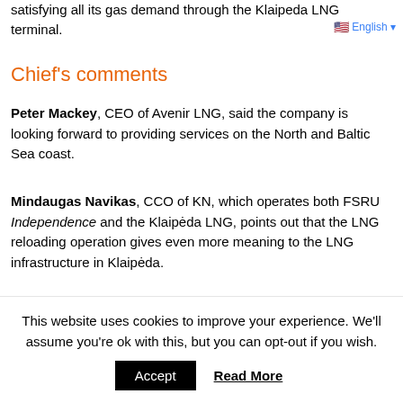satisfying all its gas demand through the Klaipeda LNG terminal.
Chief's comments
Peter Mackey, CEO of Avenir LNG, said the company is looking forward to providing services on the North and Baltic Sea coast.
Mindaugas Navikas, CCO of KN, which operates both FSRU Independence and the Klaipėda LNG, points out that the LNG reloading operation gives even more meaning to the LNG infrastructure in Klaipėda.
"Klaipeda LNG reloading station is designed to supply Baltic and
This website uses cookies to improve your experience. We'll assume you're ok with this, but you can opt-out if you wish.